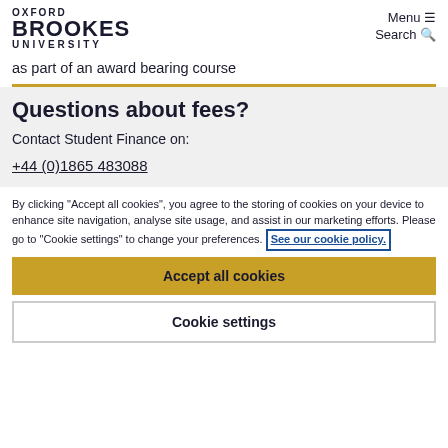OXFORD BROOKES UNIVERSITY | Menu | Search
as part of an award bearing course
Questions about fees?
Contact Student Finance on:
+44 (0)1865 483088
By clicking "Accept all cookies", you agree to the storing of cookies on your device to enhance site navigation, analyse site usage, and assist in our marketing efforts. Please go to "Cookie settings" to change your preferences. See our cookie policy.
Accept all cookies
Cookie settings